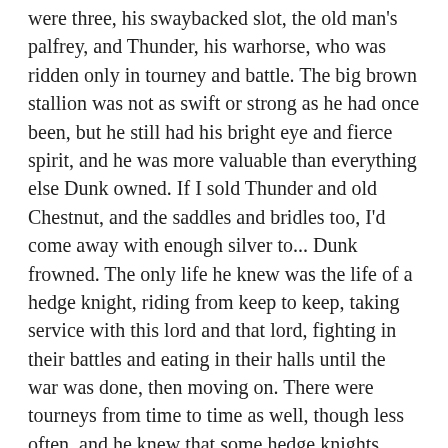were three, his swaybacked slot, the old man's palfrey, and Thunder, his warhorse, who was ridden only in tourney and battle. The big brown stallion was not as swift or strong as he had once been, but he still had his bright eye and fierce spirit, and he was more valuable than everything else Dunk owned. If I sold Thunder and old Chestnut, and the saddles and bridles too, I'd come away with enough silver to... Dunk frowned. The only life he knew was the life of a hedge knight, riding from keep to keep, taking service with this lord and that lord, fighting in their battles and eating in their halls until the war was done, then moving on. There were tourneys from time to time as well, though less often, and he knew that some hedge knights turned robber during lean winters, though the old man never had.
I could find another hedge knight in need of a